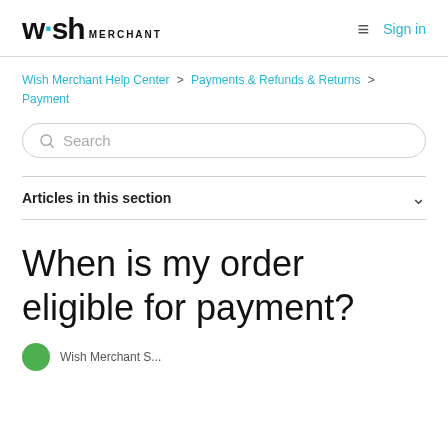wish MERCHANT  Sign in
Wish Merchant Help Center > Payments & Refunds & Returns > Payment
Search
Articles in this section
When is my order eligible for payment?
Wish Merchant S...